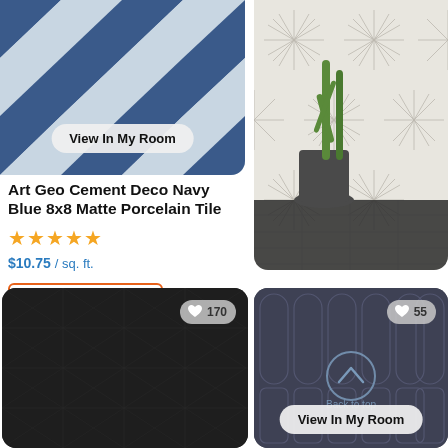[Figure (photo): Top-left: Blue-gray geometric argyle/triangle pattern tile with 'View In My Room' button overlay]
[Figure (photo): Top-right: Room scene with cactus plant and geometric starburst/line pattern wall tile in white/beige]
Art Geo Cement Deco Navy Blue 8x8 Matte Porcelain Tile
★★★★★
$10.75 / sq. ft.
Order Sample
[Figure (photo): Bottom-left: Dark charcoal tile with repeating 8-point star/sparkle pattern, like-count badge showing 170]
[Figure (photo): Bottom-right: Dark gray arch/capsule shaped tile pattern with 'Back to top' circle icon, like-count badge showing 55, and 'View In My Room' button]